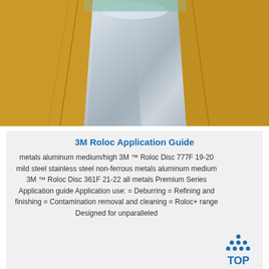[Figure (photo): Photo of a brushed stainless steel sheet unwrapped from brown/tan paper packaging, viewed from above in a box. The steel has a bright, reflective surface with subtle linear grain.]
3M Roloc Application Guide
metals aluminum medium/high 3M ™ Roloc Disc 777F 19-20 mild steel stainless steel non-ferrous metals aluminum medium 3M ™ Roloc Disc 361F 21-22 all metals Premium Series Application guide Application use: = Deburring = Refining and finishing = Contamination removal and cleaning = Roloc+ range Designed for unparalleled
[Figure (logo): TOP badge logo with blue dots arranged in a triangle above the text TOP in blue letters]